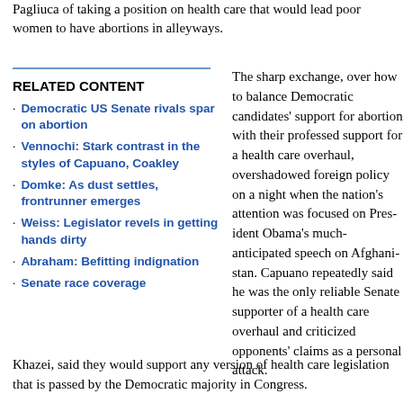Pagliuca of taking a position on health care that would lead poor women to have abortions in alleyways.
RELATED CONTENT
Democratic US Senate rivals spar on abortion
Vennochi: Stark contrast in the styles of Capuano, Coakley
Domke: As dust settles, frontrunner emerges
Weiss: Legislator revels in getting hands dirty
Abraham: Befitting indignation
Senate race coverage
The sharp exchange, over how to balance Democratic candidates' support for abortion with their professed support for a health care overhaul, overshadowed foreign policy on a night when the nation's attention was focused on President Obama's much-anticipated speech on Afghanistan. Capuano repeatedly said he was the only reliable Senate supporter of a health care overhaul and criticized opponents' claims as a personal attack.
Coakley and Capuano said they would support health care legislation only if it does not include restrictions on insurance coverage of abortions. Pagliuca, as well as City Year co-founder Khazei, said they would support any version of health care legislation that is passed by the Democratic majority in Congress.
The Democratic and Republican primaries are next Tuesday, and the two winners will face off in a final election Jan. 19. The candidates are vying to win a seat held by Senator Edward M. Kennedy, who died in August.